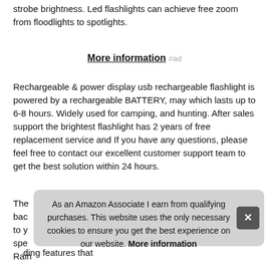strobe brightness. Led flashlights can achieve free zoom from floodlights to spotlights.
More information #ad
Rechargeable & power display usb rechargeable flashlight is powered by a rechargeable BATTERY, may which lasts up to 6-8 hours. Widely used for camping, and hunting. After sales support the brightest flashlight has 2 years of free replacement service and If you have any questions, please feel free to contact our excellent customer support team to get the best solution within 24 hours.
The [partially obscured text]
As an Amazon Associate I earn from qualifying purchases. This website uses the only necessary cookies to ensure you get the best experience on our website. More information